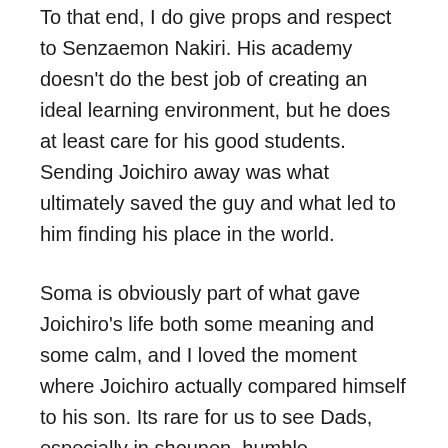To that end, I do give props and respect to Senzaemon Nakiri. His academy doesn't do the best job of creating an ideal learning environment, but he does at least care for his good students. Sending Joichiro away was what ultimately saved the guy and what led to him finding his place in the world.
Soma is obviously part of what gave Joichiro's life both some meaning and some calm, and I loved the moment where Joichiro actually compared himself to his son. Its rare for us to see Dads, especially in shounen, humble themselves before their own children. But Joichiro does indeed realize that Soma has something that very few human beings have.